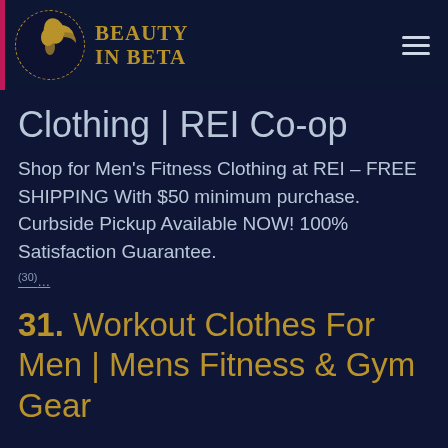[Figure (logo): Beauty In Beta logo with circular dashed border and silhouette illustration]
BEAUTY IN BETA
Clothing | REI Co-op
Shop for Men's Fitness Clothing at REI – FREE SHIPPING With $50 minimum purchase. Curbside Pickup Available NOW! 100% Satisfaction Guarantee. (30)...
31. Workout Clothes For Men | Mens Fitness & Gym Gear